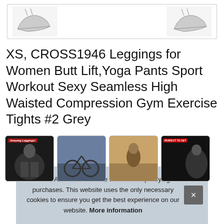[Figure (photo): Top strip showing two product images of leggings/shoes on white background with border]
XS, CROSS1946 Leggings for Women Butt Lift,Yoga Pants Sport Workout Sexy Seamless High Waisted Compression Gym Exercise Tights #2 Grey
[Figure (photo): Row of four product thumbnail images showing leggings in various poses and settings]
As an Amazon Associate I earn from qualifying purchases. This website uses the only necessary cookies to ensure you get the best experience on our website. More information